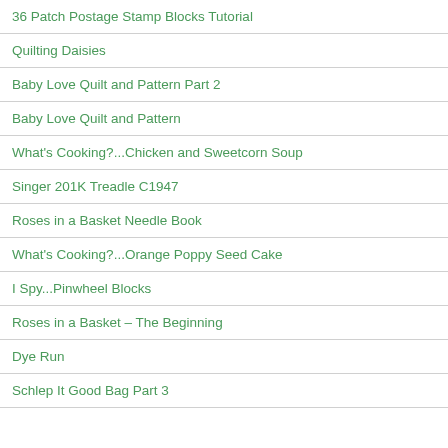36 Patch Postage Stamp Blocks Tutorial
Quilting Daisies
Baby Love Quilt and Pattern Part 2
Baby Love Quilt and Pattern
What's Cooking?...Chicken and Sweetcorn Soup
Singer 201K Treadle C1947
Roses in a Basket Needle Book
What's Cooking?...Orange Poppy Seed Cake
I Spy...Pinwheel Blocks
Roses in a Basket – The Beginning
Dye Run
Schlep It Good Bag Part 3